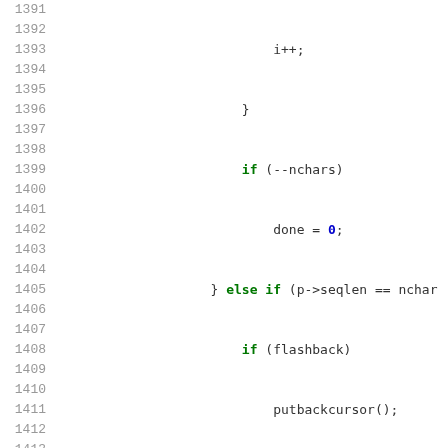[Figure (screenshot): Source code listing in C, lines 1391-1421, showing code for character processing and a split_words function]